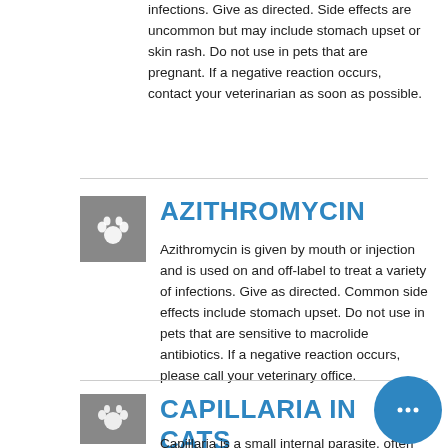infections. Give as directed. Side effects are uncommon but may include stomach upset or skin rash. Do not use in pets that are pregnant. If a negative reaction occurs, contact your veterinarian as soon as possible.
AZITHROMYCIN
Azithromycin is given by mouth or injection and is used on and off-label to treat a variety of infections. Give as directed. Common side effects include stomach upset. Do not use in pets that are sensitive to macrolide antibiotics. If a negative reaction occurs, please call your veterinary office.
CAPILLARIA IN CATS
Capillaria is a small internal parasite, often less than half of a centimeter in